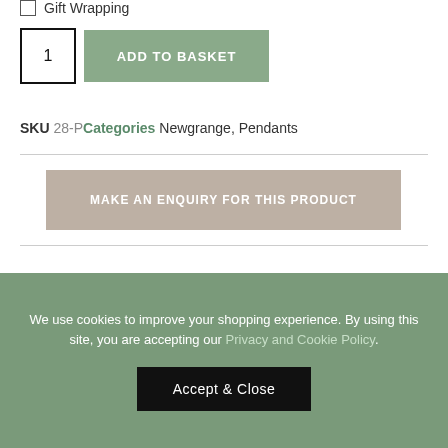Gift Wrapping
1  ADD TO BASKET
SKU 28-P  Categories  Newgrange, Pendants
MAKE AN ENQUIRY FOR THIS PRODUCT
We use cookies to improve your shopping experience. By using this site, you are accepting our Privacy and Cookie Policy.
Accept & Close